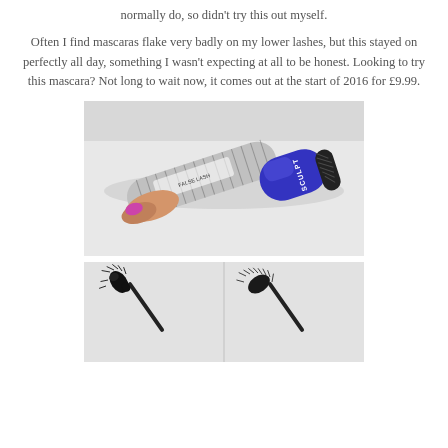normally do, so didn't try this out myself.
Often I find mascaras flake very badly on my lower lashes, but this stayed on perfectly all day, something I wasn't expecting at all to be honest. Looking to try this mascara? Not long to wait now, it comes out at the start of 2016 for £9.99.
[Figure (photo): A hand holding a mascara tube labeled 'FALSE LASH SCULPT' with a blue and silver design, photographed on a white background.]
[Figure (photo): Two mascara wand brushes side by side showing different brush types for the False Lash Sculpt mascara.]